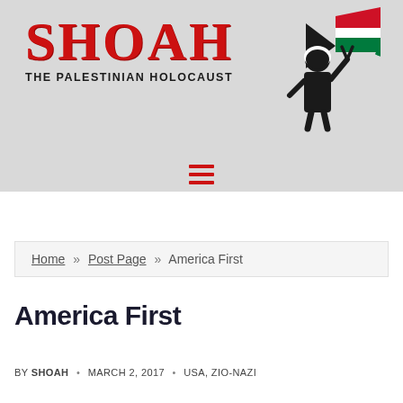[Figure (logo): Shoah: The Palestinian Holocaust website header logo with stylized red hand-painted SHOAH text, subtitle 'THE PALESTINIAN HOLOCAUST', and a black-and-white illustration of a figure making a peace sign with a Palestinian flag flowing above]
[Figure (other): Red hamburger menu icon (three horizontal red lines)]
Home » Post Page » America First
America First
BY SHOAH • MARCH 2, 2017 • USA, ZIO-NAZI